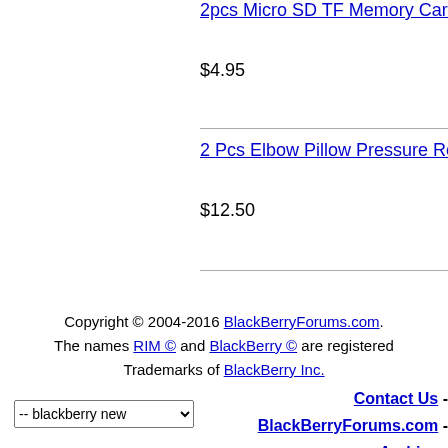2pcs Micro SD TF Memory Card Read
$4.95
2 Pcs Elbow Pillow Pressure Relief Ch
$12.50
Copyright © 2004-2016 BlackBerryForums.com. The names RIM © and BlackBerry © are registered Trademarks of BlackBerry Inc.
Contact Us - BlackBerryForums.com - Archive - Top
-- blackberry new